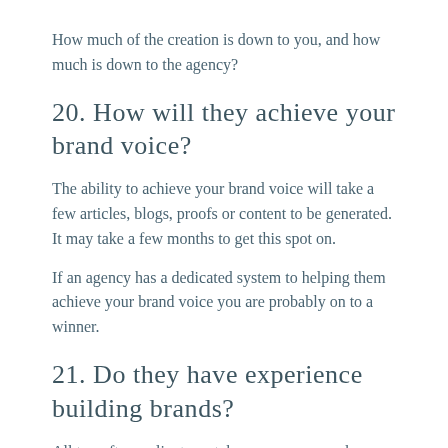How much of the creation is down to you, and how much is down to the agency?
20. How will they achieve your brand voice?
The ability to achieve your brand voice will take a few articles, blogs, proofs or content to be generated. It may take a few months to get this spot on.
If an agency has a dedicated system to helping them achieve your brand voice you are probably on to a winner.
21. Do they have experience building brands?
All too often a client can take on an agency where a few social media posts get posted and a website